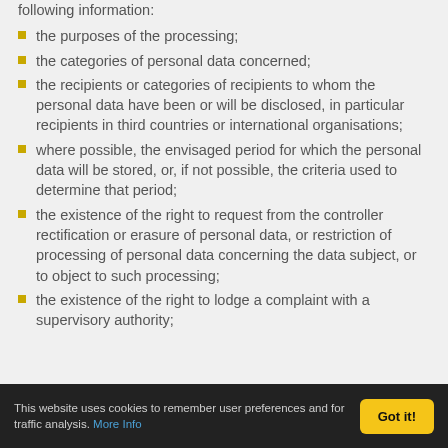following information:
the purposes of the processing;
the categories of personal data concerned;
the recipients or categories of recipients to whom the personal data have been or will be disclosed, in particular recipients in third countries or international organisations;
where possible, the envisaged period for which the personal data will be stored, or, if not possible, the criteria used to determine that period;
the existence of the right to request from the controller rectification or erasure of personal data, or restriction of processing of personal data concerning the data subject, or to object to such processing;
the existence of the right to lodge a complaint with a supervisory authority;
This website uses cookies to remember user preferences and for traffic analysis. More Info